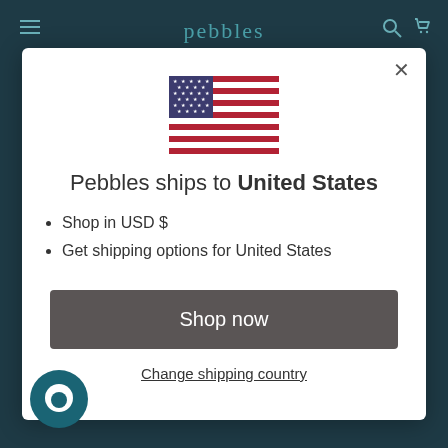pebbles
[Figure (illustration): US flag SVG illustration]
Pebbles ships to United States
Shop in USD $
Get shipping options for United States
Shop now
Change shipping country